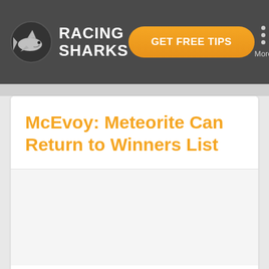RACING SHARKS — GET FREE TIPS — More
McEvoy: Meteorite Can Return to Winners List
[Figure (photo): Article image placeholder, light gray background]
Fri 4th December 2020
Will Guest